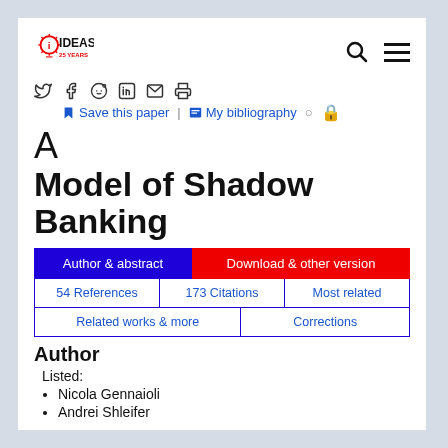[Figure (logo): IDEAS 25 YEARS logo with lightbulb icon in red and blue]
Save this paper   My bibliography
A Model of Shadow Banking
Author & abstract | Download & other version | 54 References | 173 Citations | Most related | Related works & more | Corrections
Author
Listed:
Nicola Gennaioli
Andrei Shleifer